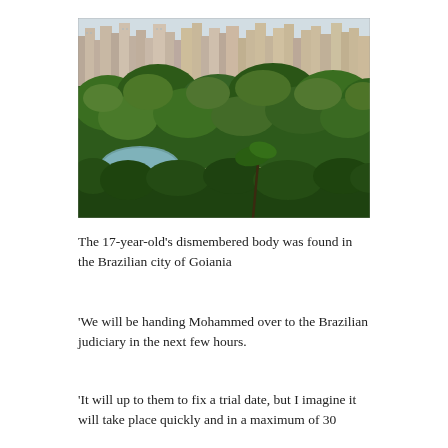[Figure (photo): Aerial photograph of the Brazilian city of Goiania showing dense high-rise urban skyline in the background and a large green park with trees, pathways, and a small lake in the foreground.]
The 17-year-old's dismembered body was found in the Brazilian city of Goiania
'We will be handing Mohammed over to the Brazilian judiciary in the next few hours.
'It will up to them to fix a trial date, but I imagine it will take place quickly and in a maximum of 30